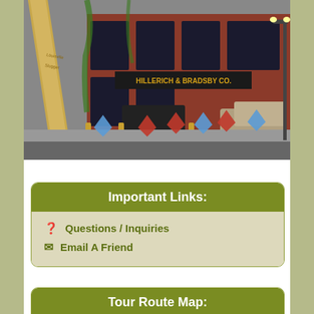[Figure (photo): Photograph of the Hillerich & Bradsby Co. building (Louisville Slugger Museum) with a giant baseball bat leaning against the red brick building. Several colored arrow markers (blue and red) are overlaid on the lower portion of the image.]
Important Links:
Questions / Inquiries
Email A Friend
Tour Route Map: